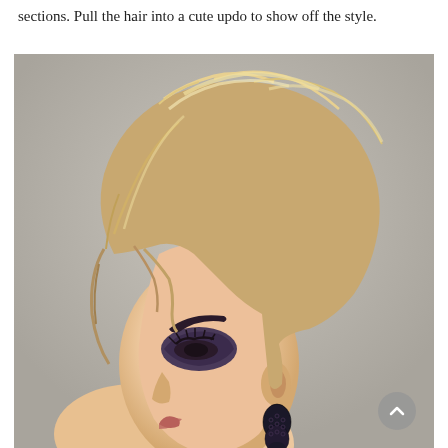sections. Pull the hair into a cute updo to show off the style.
[Figure (photo): Side profile of a young woman with a short, textured, layered pixie cut with blonde highlights. She has dramatic dark smoky eye makeup and is wearing ornate black lace drop earrings. The background is a neutral grey.]